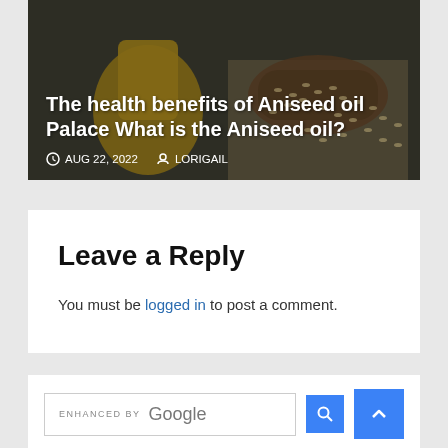[Figure (photo): Article thumbnail image showing aniseed oil bottle and anise seeds, with overlaid title text 'The health benefits of Aniseed oil Palace What is the Aniseed oil?' and metadata showing date AUG 22, 2022 and author LORIGAIL]
The health benefits of Aniseed oil Palace What is the Aniseed oil?
AUG 22, 2022   LORIGAIL
Leave a Reply
You must be logged in to post a comment.
[Figure (screenshot): Google search bar with 'ENHANCED BY Google' label and search icon button, alongside a scroll-to-top button]